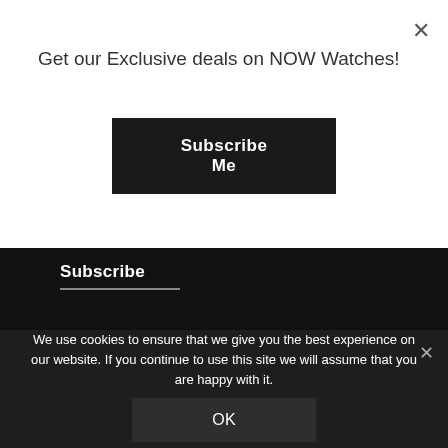Get our Exclusive deals on NOW Watches!
Subscribe Me
Subscribe
Delivery Policy    Return & Refund Policy    Privacy Policy
Blog    Contact Us    FAQ
We use cookies to ensure that we give you the best experience on our website. If you continue to use this site we will assume that you are happy with it.
OK